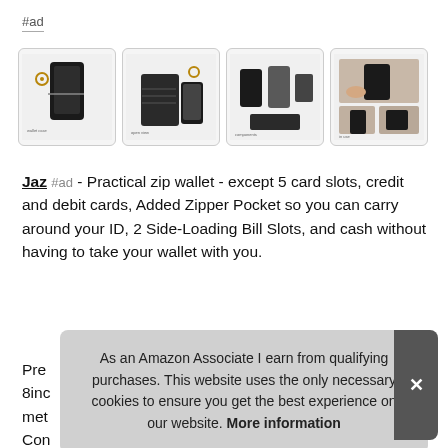#ad
[Figure (photo): Four product images of a black leather zip wallet phone case for iPhone X showing different angles and configurations]
Jaz #ad - Practical zip wallet - except 5 card slots, credit and debit cards, Added Zipper Pocket so you can carry around your ID, 2 Side-Loading Bill Slots, and cash without having to take your wallet with you.
Pre... 8inc... met... Con... Stro...
As an Amazon Associate I earn from qualifying purchases. This website uses the only necessary cookies to ensure you get the best experience on our website. More information